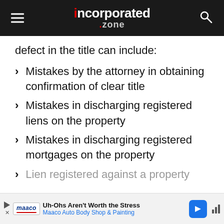incorporated.zone
defect in the title can include:
Mistakes by the attorney in obtaining confirmation of clear title
Mistakes in discharging registered liens on the property
Mistakes in discharging registered mortgages on the property
Lien registered against a property...
Uh-Ohs Aren't Worth the Stress Maaco Auto Body Shop & Painting